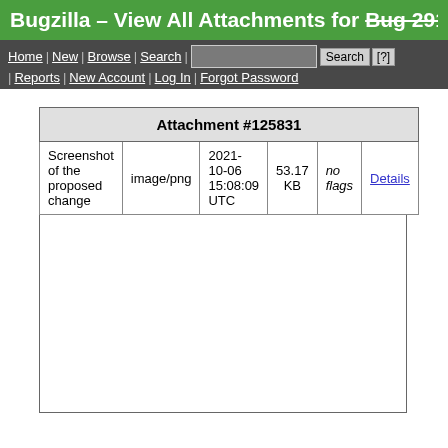Bugzilla – View All Attachments for Bug 2918…
Home | New | Browse | Search | [search box] Search [?] | Reports | New Account | Log In | Forgot Password
| Attachment #125831 |
| --- |
| Screenshot of the proposed change | image/png | 2021-10-06 15:08:09 UTC | 53.17 KB | no flags | Details |